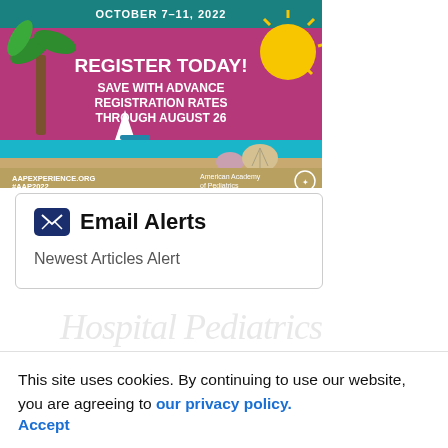[Figure (illustration): AAP Experience 2022 conference registration banner with beach/tropical theme. Dark teal header 'OCTOBER 7-11, 2022', pink/purple background with sun, palm tree, sailboat, shells. Text: 'REGISTER TODAY! SAVE WITH ADVANCE REGISTRATION RATES THROUGH AUGUST 26'. Bottom: 'AAPEXPERIENCE.ORG #AAP2022' and 'American Academy of Pediatrics' logo.]
Email Alerts
Newest Articles Alert
This site uses cookies. By continuing to use our website, you are agreeing to our privacy policy. Accept